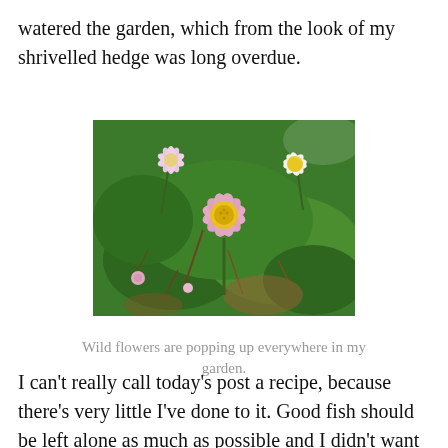watered the garden, which from the look of my shrivelled hedge was long overdue.
[Figure (photo): Close-up photograph of wild daisy flowers with pink and white petals and yellow centres, growing among green grass and plants in a garden.]
Wild flowers are popping up everywhere in my garden.
I can't really call today's post a recipe, because there's very little I've done to it. Good fish should be left alone as much as possible and I didn't want to slather it in sauce, so I decided to infuse some butter and oil with lots of fresh ginger and garlic before searing my salmon in the fragrant